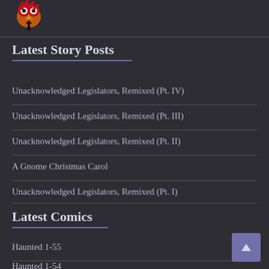[Figure (logo): Owl/skull themed logo icon in orange and red]
Latest Story Posts
Unacknowledged Legislators, Remixed (Pt. IV)
Unacknowledged Legislators, Remixed (Pt. III)
Unacknowledged Legislators, Remixed (Pt. II)
A Gnome Christmas Carol
Unacknowledged Legislators, Remixed (Pt. I)
Latest Comics
Haunted 1-55
Haunted 1-54
Haunted 1-53